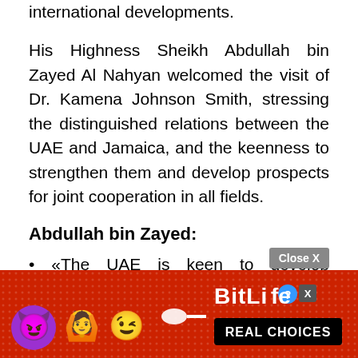international developments.
His Highness Sheikh Abdullah bin Zayed Al Nahyan welcomed the visit of Dr. Kamena Johnson Smith, stressing the distinguished relations between the UAE and Jamaica, and the keenness to strengthen them and develop prospects for joint cooperation in all fields.
Abdullah bin Zayed:
• «The UAE is keen to develop prospects for joint cooperation with Hungary and Jamaica».
Peter Sciartou:
"Expo ... tional coope ... nomic
[Figure (other): Advertisement banner: BitLife Real Choices game ad with emojis (devil, woman with raised hands, winking face) on red background with Close X button overlay]